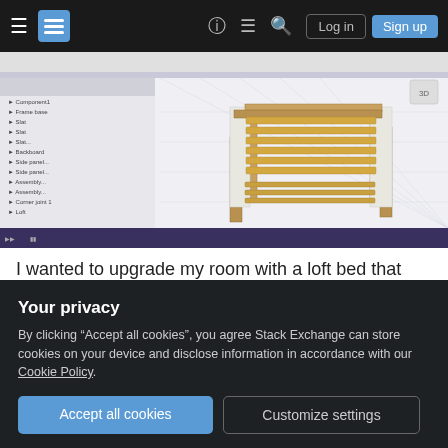Stack Exchange navigation bar with Log in and Sign up buttons
[Figure (screenshot): CAD software screenshot showing a 3D model of a loft bed frame with wooden slats and white side panels, displayed in a parametric modeling application with a component tree on the left side.]
I wanted to upgrade my room with a loft bed that way I may have more workspace. My room is 60W x 74.5L x 95.3H. The loft bed design is 39W x 79L
Your privacy
By clicking "Accept all cookies", you agree Stack Exchange can store cookies on your device and disclose information in accordance with our Cookie Policy.
Accept all cookies  Customize settings
concerns are the legs and support beams for